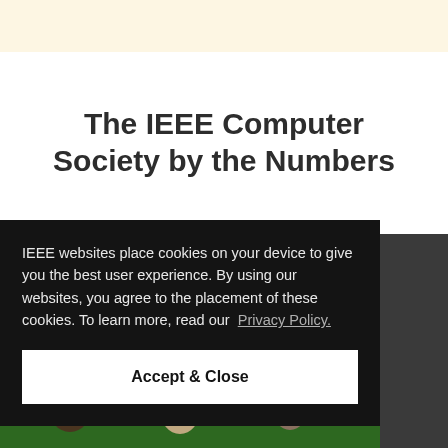The IEEE Computer Society by the Numbers
IEEE websites place cookies on your device to give you the best user experience. By using our websites, you agree to the placement of these cookies. To learn more, read our Privacy Policy.
Accept & Close
[Figure (photo): Group photo of people on grass, partially visible at bottom of page with blue sidebar element]